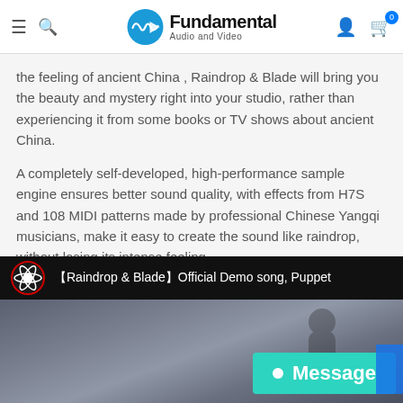Fundamental Audio and Video
the feeling of ancient China , Raindrop & Blade will bring you the beauty and mystery right into your studio, rather than experiencing it from some books or TV shows about ancient China.
A completely self-developed, high-performance sample engine ensures better sound quality, with effects from H7S and 108 MIDI patterns made by professional Chinese Yangqi musicians, make it easy to create the sound like raindrop, without losing its intense feeling.
[Figure (screenshot): Video thumbnail showing the title 【Raindrop & Blade】Official Demo song, Puppet with a dark misty background and a silhouette figure, with a teal Message chat button overlay in the bottom right corner.]